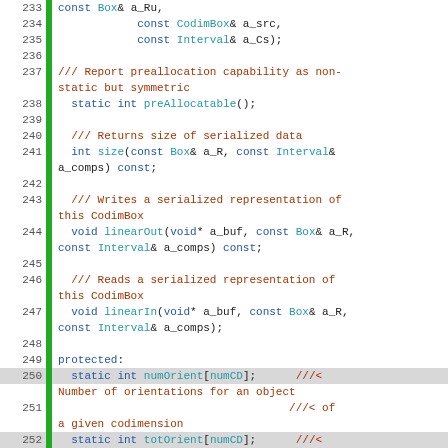[Figure (screenshot): Source code listing showing C++ class method declarations with line numbers 233-256. Green gutter bar on left, syntax highlighting in blue/teal for keywords and identifiers, dark red for comments.]